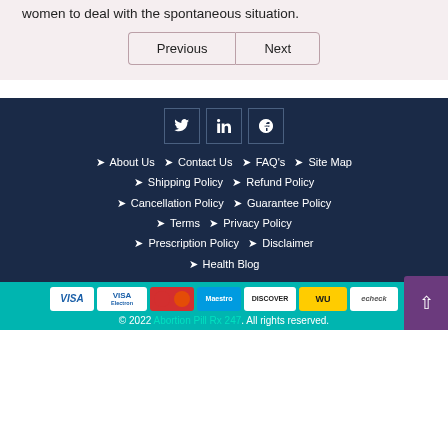women to deal with the spontaneous situation.
Previous | Next
About Us | Contact Us | FAQ's | Site Map | Shipping Policy | Refund Policy | Cancellation Policy | Guarantee Policy | Terms | Privacy Policy | Prescription Policy | Disclaimer | Health Blog
© 2022 Abortion Pill Rx 247. All rights reserved.